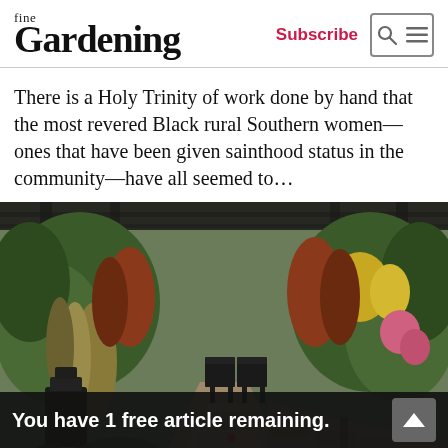fine Gardening — Subscribe
There is a Holy Trinity of work done by hand that the most revered Black rural Southern women—ones that have been given sainthood status in the community—have all seemed to...
[Figure (photo): A lush garden path with mixed perennials, ornamental grasses, tropical plants, and a pergola overhead. A paved stone path leads to outdoor seating surrounded by colorful plants. A dark sculpture or fountain feature is visible in the foreground left.]
You have 1 free article remaining.